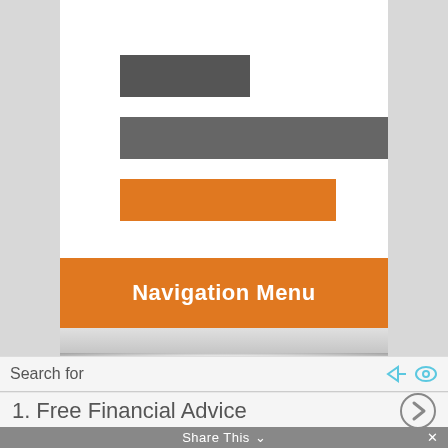[Figure (bar-chart): Horizontal bar chart with three bars: dark gray short bar, longer medium gray bar, orange medium-long bar]
Navigation Menu
Search for
1.  Free Financial Advice
Share This